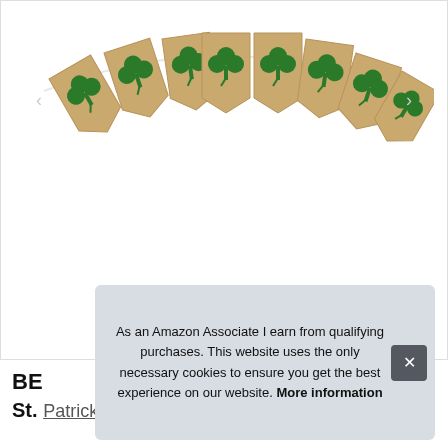[Figure (illustration): A St. Patrick's Day burlap pennant banner with green four-leaf clover designs on tan/burlap colored triangular flags, hung in a festive arc on a white string against a white background.]
As an Amazon Associate I earn from qualifying purchases. This website uses the only necessary cookies to ensure you get the best experience on our website. More information
BE... St. Patrick's Day Banner Green Bunting